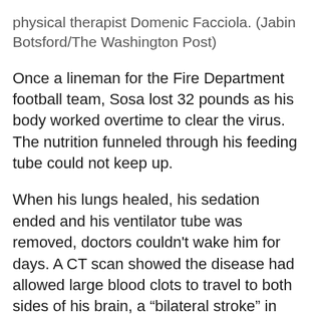physical therapist Domenic Facciola. (Jabin Botsford/The Washington Post)
Once a lineman for the Fire Department football team, Sosa lost 32 pounds as his body worked overtime to clear the virus. The nutrition funneled through his feeding tube could not keep up.
When his lungs healed, his sedation ended and his ventilator tube was removed, doctors couldn't wake him for days. A CT scan showed the disease had allowed large blood clots to travel to both sides of his brain, a “bilateral stroke” in medical terminology. Much of his working memory, which allowed him to organize coins, was badly damaged. His dominant right hand was more severely affected, but his left was weakened as well. He could not walk, stand or get out of bed on his own.